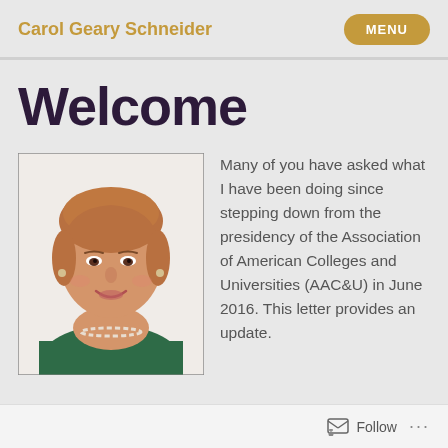Carol Geary Schneider  MENU
Welcome
[Figure (photo): Portrait photo of Carol Geary Schneider, a woman with short reddish-brown hair, smiling, wearing a green jacket and pearl necklace, against a white background.]
Many of you have asked what I have been doing since stepping down from the presidency of the Association of American Colleges and Universities (AAC&U) in June 2016. This letter provides an update.
Follow  ...